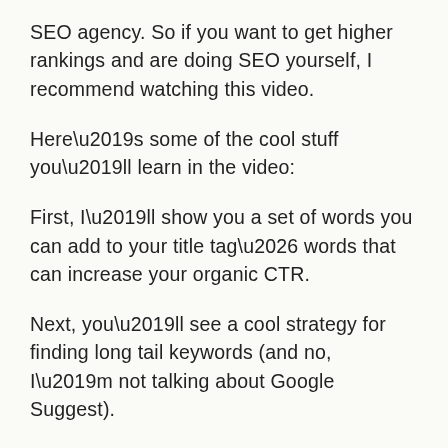SEO agency. So if you want to get higher rankings and are doing SEO yourself, I recommend watching this video.
Here’s some of the cool stuff you’ll learn in the video:
First, I’ll show you a set of words you can add to your title tag… words that can increase your organic CTR.
Next, you’ll see a cool strategy for finding long tail keywords (and no, I’m not talking about Google Suggest).
Our third strategy is to reduce your bounce rate. I show you why Google may pay close attention to your site’s bounce rate and use it as a ranking signal.
Even though it’s not clear if Google uses bounce rate